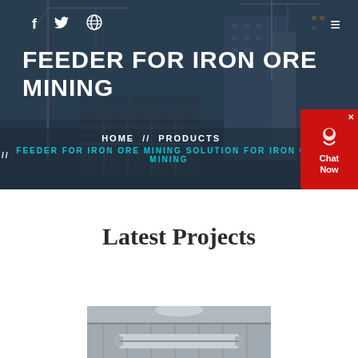f  twitter  dribbble  ≡
FEEDER FOR IRON ORE MINING
HOME  //  PRODUCTS  //  FEEDER FOR IRON ORE MINING SOLUTION FOR IRON ORE MINING
Latest Projects
[Figure (photo): Industrial machinery or mining equipment photo at the bottom of the page]